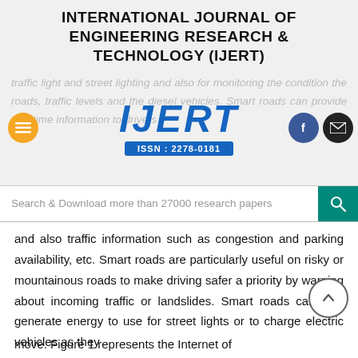INTERNATIONAL JOURNAL OF ENGINEERING RESEARCH & TECHNOLOGY (IJERT)
[Figure (logo): IJERT logo with ISSN: 2278-0181 badge, surrounded by navigation icons (hamburger menu, Facebook, email) and partially visible watermark text about traffic light, street lighting, monitoring roads, traffic levels.]
Search & Download more than 27000 research papers
and also traffic information such as congestion and parking availability, etc. Smart roads are particularly useful on risky or mountainous roads to make driving safer a priority by warning about incoming traffic or landslides. Smart roads can also generate energy to use for street lights or to charge electric vehicles as they
move. Figure 1 represents the Internet of